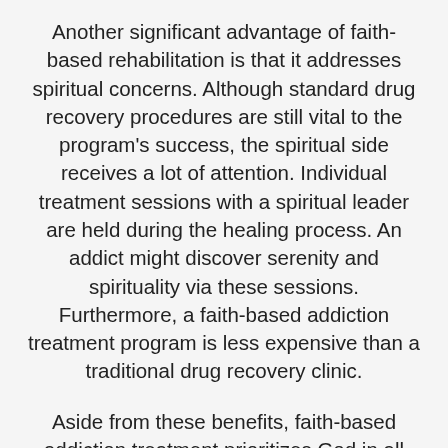Another significant advantage of faith-based rehabilitation is that it addresses spiritual concerns. Although standard drug recovery procedures are still vital to the program's success, the spiritual side receives a lot of attention. Individual treatment sessions with a spiritual leader are held during the healing process. An addict might discover serenity and spirituality via these sessions. Furthermore, a faith-based addiction treatment program is less expensive than a traditional drug recovery clinic.
Aside from these benefits, faith-based addiction treatment prioritizes God in all phases of recovery. A religious setting provides a secure atmosphere in which to begin the recovery process, as well as ensuring a good mental state. It also promotes camaraderie and community, both